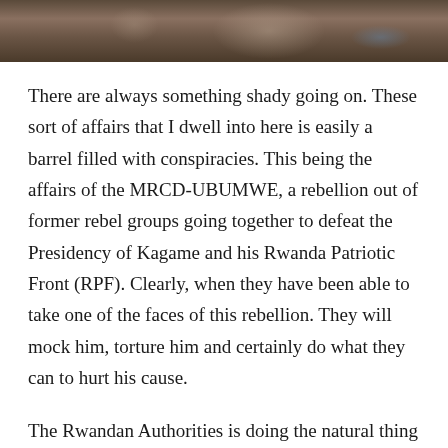[Figure (photo): Partial photo showing figures seated, one wearing a blue shirt, cropped at top of page]
There are always something shady going on. These sort of affairs that I dwell into here is easily a barrel filled with conspiracies. This being the affairs of the MRCD-UBUMWE, a rebellion out of former rebel groups going together to defeat the Presidency of Kagame and his Rwanda Patriotic Front (RPF). Clearly, when they have been able to take one of the faces of this rebellion. They will mock him, torture him and certainly do what they can to hurt his cause.
The Rwandan Authorities is doing the natural thing charging Major Callixte Nsabimana aka Sankara. That they are taking him to court and apprehending him, only makes sense. However, that they are peddling news about